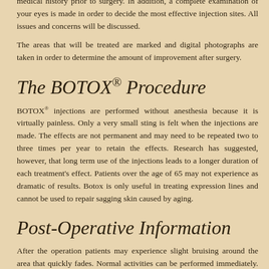medical history prior to surgery. In addition, a complete examination of your eyes is made in order to decide the most effective injection sites. All issues and concerns will be discussed.
The areas that will be treated are marked and digital photographs are taken in order to determine the amount of improvement after surgery.
The BOTOX® Procedure
BOTOX® injections are performed without anesthesia because it is virtually painless. Only a very small sting is felt when the injections are made. The effects are not permanent and may need to be repeated two to three times per year to retain the effects. Research has suggested, however, that long term use of the injections leads to a longer duration of each treatment's effect. Patients over the age of 65 may not experience as dramatic of results. Botox is only useful in treating expression lines and cannot be used to repair sagging skin caused by aging.
Post-Operative Information
After the operation patients may experience slight bruising around the area that quickly fades. Normal activities can be performed immediately. Possible side effects are temporary weakness of nearby